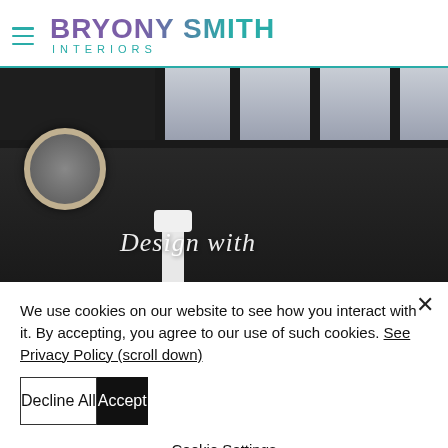[Figure (logo): Bryony Smith Interiors logo with hamburger menu icon on the left and stylized text logo combining purple and teal colors]
[Figure (photo): Interior design photo showing a dark-walled room with glass skylight ceiling, round sunburst mirror on the left, floor lamp, and a dramatic cloudy sky mural or window view. Overlaid with cursive white text reading 'Design with']
We use cookies on our website to see how you interact with it. By accepting, you agree to our use of such cookies. See Privacy Policy (scroll down)
Decline All
Accept
Cookie Settings